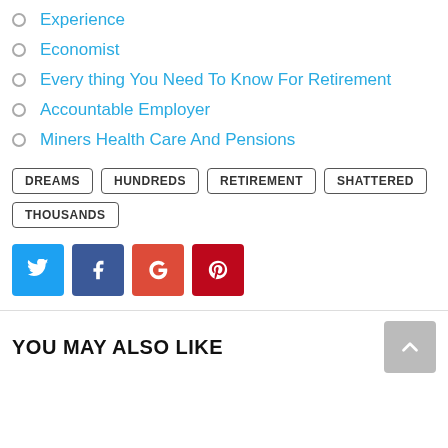Experience
Economist
Every thing You Need To Know For Retirement
Accountable Employer
Miners Health Care And Pensions
DREAMS  HUNDREDS  RETIREMENT  SHATTERED  THOUSANDS
[Figure (other): Social share buttons: Twitter (blue), Facebook (dark blue), Google+ (red-orange), Pinterest (dark red)]
YOU MAY ALSO LIKE